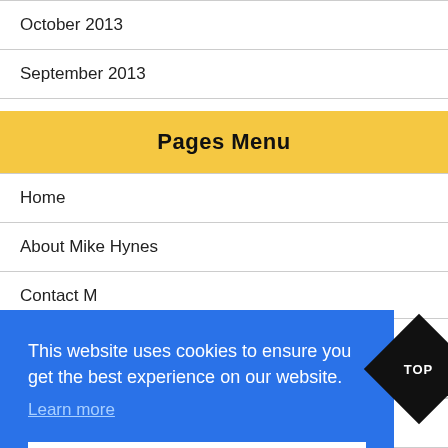October 2013
September 2013
Pages Menu
Home
About Mike Hynes
Contact M…
This website uses cookies to ensure you get the best experience on our website.
Learn more
Got it!
Privacy Policy